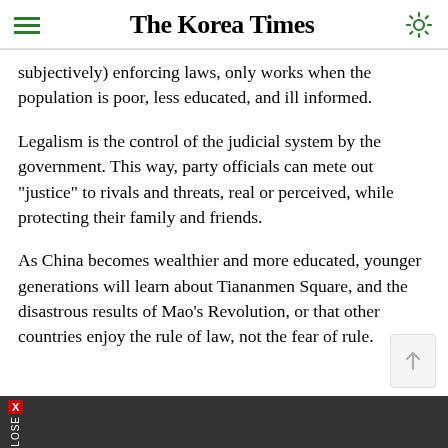The Korea Times
subjectively) enforcing laws, only works when the population is poor, less educated, and ill informed.
Legalism is the control of the judicial system by the government. This way, party officials can mete out "justice" to rivals and threats, real or perceived, while protecting their family and friends.
As China becomes wealthier and more educated, younger generations will learn about Tiananmen Square, and the disastrous results of Mao's Revolution, or that other countries enjoy the rule of law, not the fear of rule.